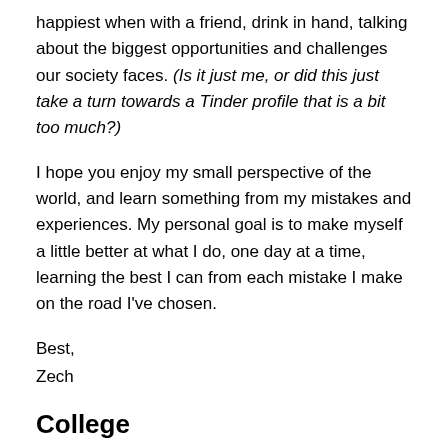happiest when with a friend, drink in hand, talking about the biggest opportunities and challenges our society faces. (Is it just me, or did this just take a turn towards a Tinder profile that is a bit too much?)
I hope you enjoy my small perspective of the world, and learn something from my mistakes and experiences. My personal goal is to make myself a little better at what I do, one day at a time, learning the best I can from each mistake I make on the road I’ve chosen.
Best,
Zech
College
How did you choose your college and your major?